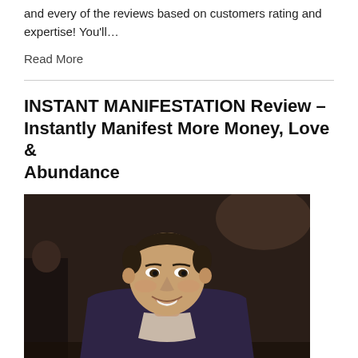and every of the reviews based on customers rating and expertise! You'll…
Read More
INSTANT MANIFESTATION Review – Instantly Manifest More Money, Love & Abundance
[Figure (photo): Smiling middle-aged man in a dark blazer seated at a table in a dimly lit venue]